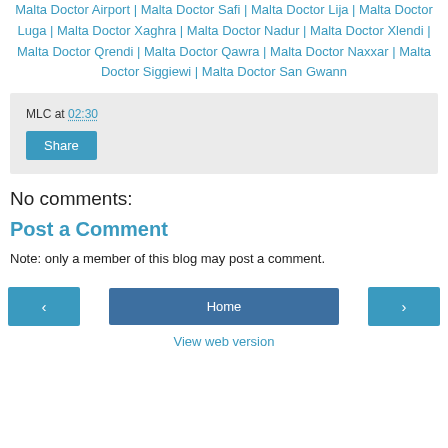Malta Doctor Airport | Malta Doctor Safi | Malta Doctor Lija | Malta Doctor Luga | Malta Doctor Xaghra | Malta Doctor Nadur | Malta Doctor Xlendi | Malta Doctor Qrendi | Malta Doctor Qawra | Malta Doctor Naxxar | Malta Doctor Siggiewi | Malta Doctor San Gwann
MLC at 02:30
Share
No comments:
Post a Comment
Note: only a member of this blog may post a comment.
‹
Home
›
View web version